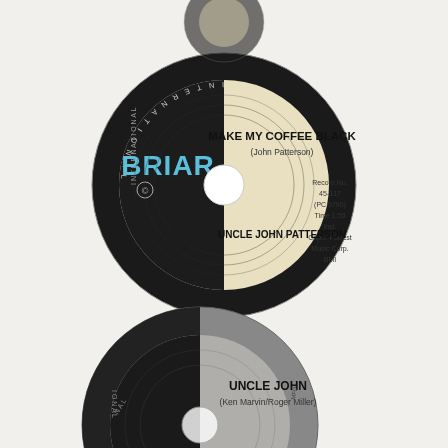[Figure (photo): Photo of two vinyl 45 RPM record labels from International Briar Records. Top record: 'MAKE MY COFFEE BLACK' (John Patterson), Record No. 45-117 (PC 9790), Time 1:50, Inst., Coper-Forrest Music Corp., BMI, performed by UNCLE JOHN PATTERSON. Bottom record (partially visible): 'UNCLE JOHN' (Ken Marvin/Roger Miller).]